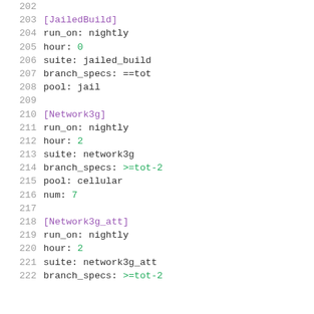202
203 [JailedBuild]
204 run_on: nightly
205 hour: 0
206 suite: jailed_build
207 branch_specs: ==tot
208 pool: jail
209
210 [Network3g]
211 run_on: nightly
212 hour: 2
213 suite: network3g
214 branch_specs: >=tot-2
215 pool: cellular
216 num: 7
217
218 [Network3g_att]
219 run_on: nightly
220 hour: 2
221 suite: network3g_att
222 branch_specs: >=tot-2